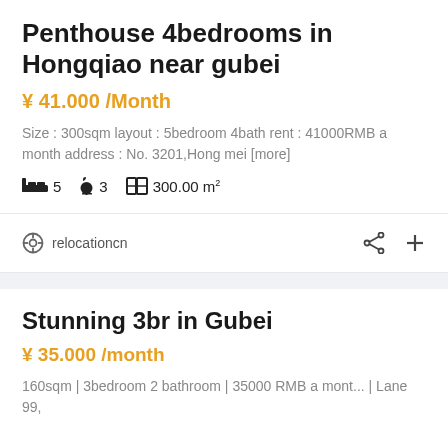Penthouse 4bedrooms in Hongqiao near gubei
¥ 41.000 /Month
Size : 300sqm layout : 5bedroom 4bath rent : 41000RMB a month address : No. 3201,Hong mei [more]
5  3  300.00 m²
relocationcn
Stunning 3br in Gubei
¥ 35.000 /month
160sqm | 3bedroom 2 bathroom | 35000 RMB a mont... | Lane 99,